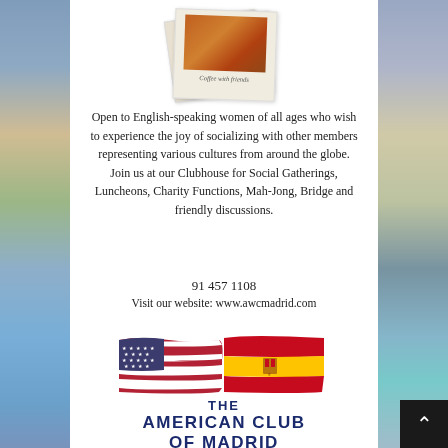[Figure (photo): Polaroid-style photo stack showing coffee scene with caption 'Coffee with friends']
Open to English-speaking women of all ages who wish to experience the joy of socializing with other members representing various cultures from around the globe. Join us at our Clubhouse for Social Gatherings, Luncheons, Charity Functions, Mah-Jong, Bridge and friendly discussions.
91 457 1108
Visit our website: www.awcmadrid.com
[Figure (logo): American and Spanish flags side by side above 'THE AMERICAN CLUB OF MADRID Est. 1952' in navy blue text]